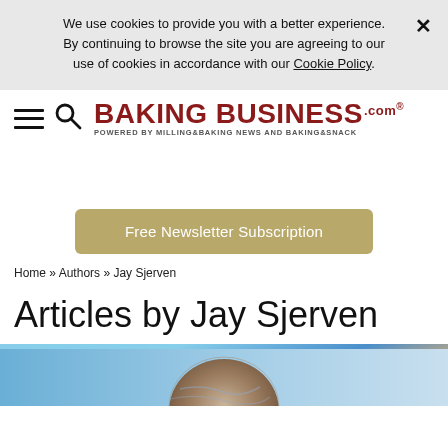We use cookies to provide you with a better experience. By continuing to browse the site you are agreeing to our use of cookies in accordance with our Cookie Policy.
[Figure (logo): BakingBusiness.com logo with hamburger menu and search icon]
Free Newsletter Subscription
Home » Authors » Jay Sjerven
Articles by Jay Sjerven
[Figure (photo): Globe/earth image with blue sky background]